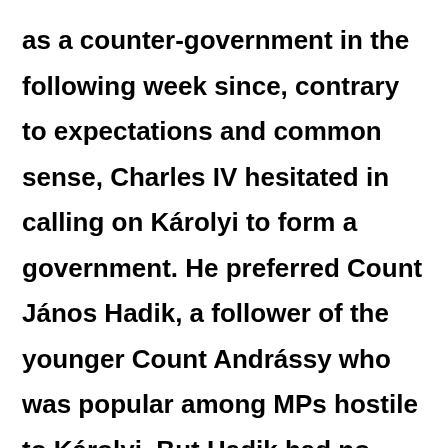as a counter-government in the following week since, contrary to expectations and common sense, Charles IV hesitated in calling on Károlyi to form a government. He preferred Count János Hadik, a follower of the younger Count Andrássy who was popular among MPs hostile to Károlyi. But Hadik had no party, and could only count on the demoralised